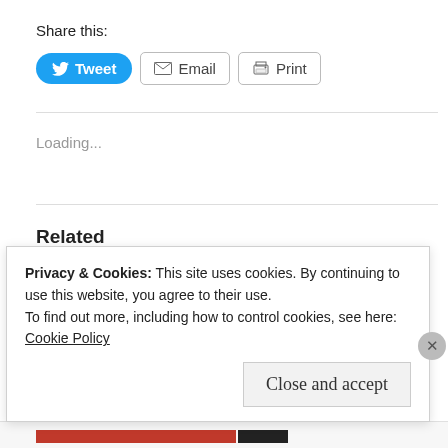Share this:
Tweet   Email   Print
Loading...
Related
[Figure (photo): A dark overhead photo showing a person's legs and shoes near a red car tail light on a parking lot surface.]
Privacy & Cookies: This site uses cookies. By continuing to use this website, you agree to their use.
To find out more, including how to control cookies, see here:
Cookie Policy
Close and accept